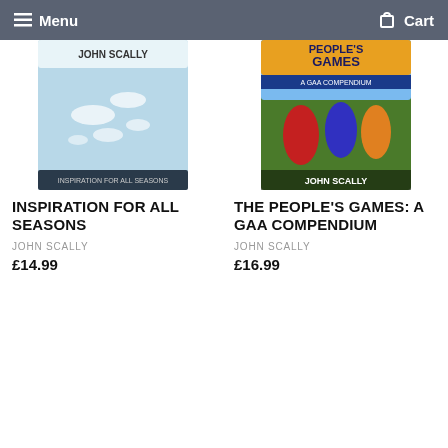Menu  Cart
[Figure (illustration): Book cover for 'Inspiration for All Seasons' by John Scally, light blue cover with birds]
INSPIRATION FOR ALL SEASONS
JOHN SCALLY
£14.99
[Figure (illustration): Book cover for 'The People's Games: A GAA Compendium' by John Scally, sports action photo]
THE PEOPLE'S GAMES: A GAA COMPENDIUM
JOHN SCALLY
£16.99